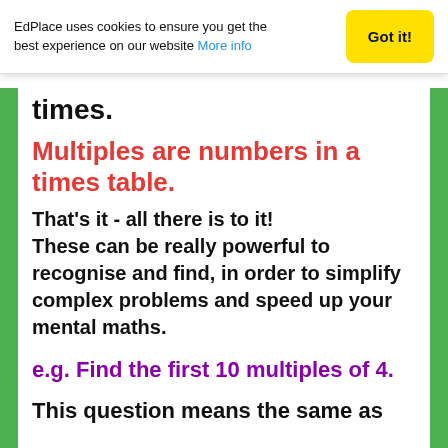EdPlace uses cookies to ensure you get the best experience on our website More info
times.
Multiples are numbers in a times table.
That's it - all there is to it! These can be really powerful to recognise and find, in order to simplify complex problems and speed up your mental maths.
e.g. Find the first 10 multiples of 4.
This question means the same as